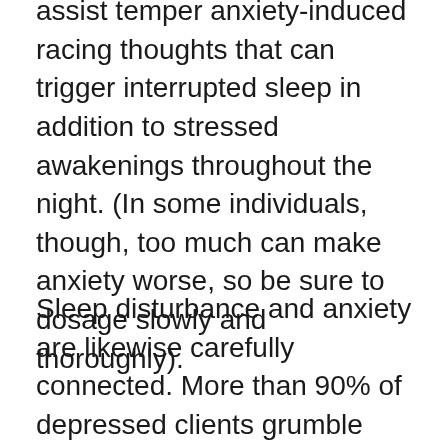specialists think cautious CBD dosing might assist temper anxiety-induced racing thoughts that can trigger interrupted sleep in addition to stressed awakenings throughout the night. (In some individuals, though, too much can make anxiety worse, so be sure to dosage slowly and thoroughly).
Sleep disturbance and anxiety are likewise carefully connected. More than 90% of depressed clients grumble about problems going to sleep, sleep disturbance, or early morning awakenings. CBD might improve their mood or their ability to manage the condition overall. CBD can likewise be used to deal with parasomnias, sleep conditions like jaw grinding, sleepwalking, or problems,